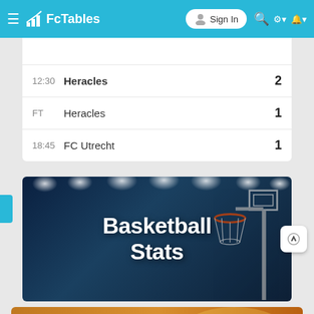[Figure (screenshot): FcTables website navigation bar with hamburger menu, FcTables logo, Sign In button, search, settings and notification icons on a teal/cyan background]
| Time | Team | Score |
| --- | --- | --- |
| 12:30 | Heracles | 2 |
| FT | Heracles | 1 |
| 18:45 | FC Utrecht | 1 |
[Figure (screenshot): Basketball Stats advertisement banner showing basketball arena with lights and hoop, bold white text reading Basketball Stats on dark blue background]
[Figure (screenshot): Unibet advertisement banner with green Unibet logo, text BET ON THE EUROPA LEAGUE FINAL, Join Now yellow button, on golden/orange background with crowd image. 19+ Terms & Conditions apply.]